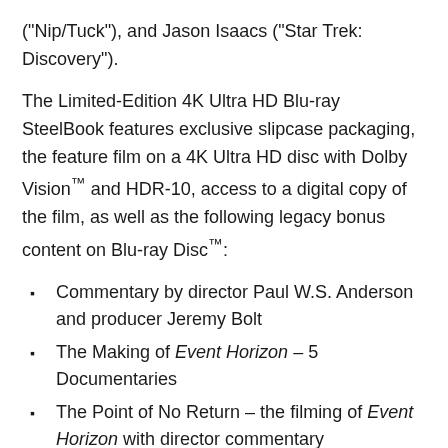("Nip/Tuck"), and Jason Isaacs ("Star Trek: Discovery").
The Limited-Edition 4K Ultra HD Blu-ray SteelBook features exclusive slipcase packaging, the feature film on a 4K Ultra HD disc with Dolby Vision™ and HDR-10, access to a digital copy of the film, as well as the following legacy bonus content on Blu-ray Disc™:
Commentary by director Paul W.S. Anderson and producer Jeremy Bolt
The Making of Event Horizon – 5 Documentaries
The Point of No Return – the filming of Event Horizon with director commentary
Secrets – deleted & extended scenes with selectable director commentary
The Unseen Event Horizon
Theatrical Trailer